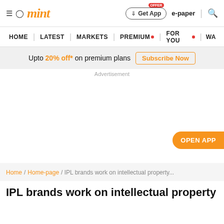mint — Home | Latest | Markets | Premium | For You
Upto 20% off* on premium plans — Subscribe Now
Advertisement
OPEN APP
Home / Home-page / IPL brands work on intellectual property...
IPL brands work on intellectual property